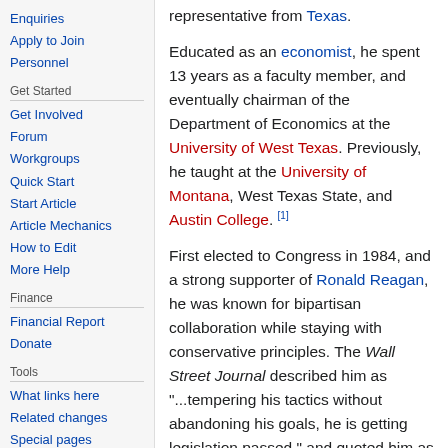Enquiries
Apply to Join
Personnel
Get Started
Get Involved
Forum
Workgroups
Quick Start
Start Article
Article Mechanics
How to Edit
More Help
Finance
Financial Report
Donate
Tools
What links here
Related changes
Special pages
Printable version
representative from Texas. Educated as an economist, he spent 13 years as a faculty member, and eventually chairman of the Department of Economics at the University of West Texas. Previously, he taught at the University of Montana, West Texas State, and Austin College. [1]
First elected to Congress in 1984, and a strong supporter of Ronald Reagan, he was known for bipartisan collaboration while staying with conservative principles. The Wall Street Journal described him as "...tempering his tactics without abandoning his goals, he is getting legislation passed," and quoted him as "You can be so ideologically hidebound that you can cut yourself out of the process.